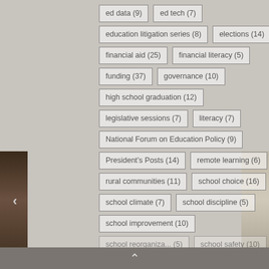ed data (9)
ed tech (7)
education litigation series (8)
elections (14)
financial aid (25)
financial literacy (5)
funding (37)
governance (10)
high school graduation (12)
legislative sessions (7)
literacy (7)
National Forum on Education Policy (9)
President's Posts (14)
remote learning (6)
rural communities (11)
school choice (16)
school climate (7)
school discipline (5)
school improvement (10)
school reorganiza... (5)
school safety (10)